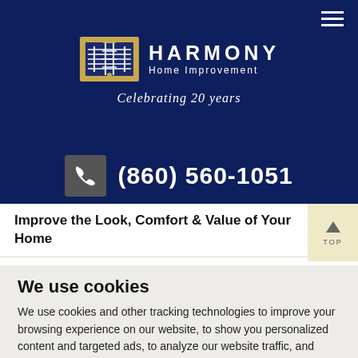[Figure (logo): Harmony Home Improvement logo with musical staff/tools graphic, text 'HARMONY Home Improvement Celebrating 20 years']
(860) 560-1051
Improve the Look, Comfort & Value of Your Home
We use cookies
We use cookies and other tracking technologies to improve your browsing experience on our website, to show you personalized content and targeted ads, to analyze our website traffic, and